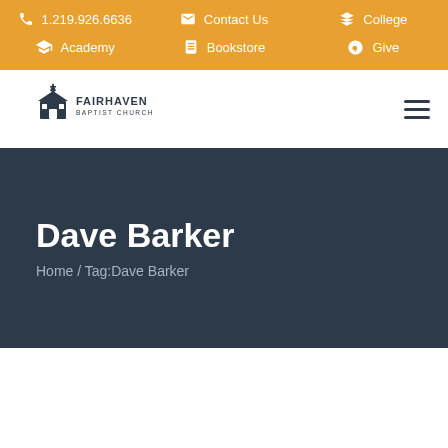1.219.926.6636 | Contact Us | College | Academy | Bookstore | Give
[Figure (logo): Fairhaven Baptist Church logo with church steeple illustration and text FAIRHAVEN BAPTIST CHURCH]
Dave Barker
Home / Tag:Dave Barker